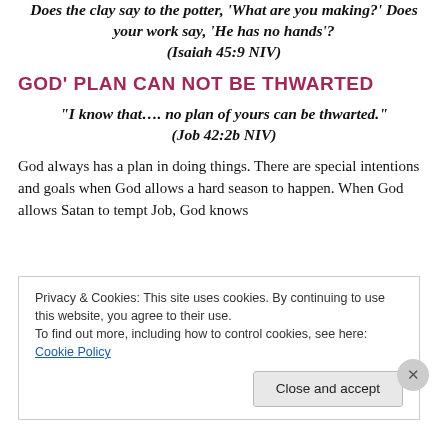Does the clay say to the potter, 'What are you making?' Does your work say, 'He has no hands'? (Isaiah 45:9 NIV)
GOD' PLAN CAN NOT BE THWARTED
“I know that…. no plan of yours can be thwarted.” (Job 42:2b NIV)
God always has a plan in doing things. There are special intentions and goals when God allows a hard season to happen. When God allows Satan to tempt Job, God knows